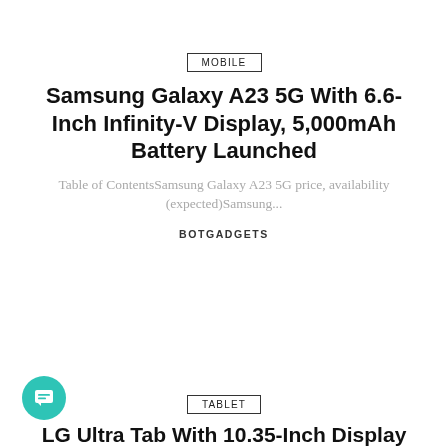MOBILE
Samsung Galaxy A23 5G With 6.6-Inch Infinity-V Display, 5,000mAh Battery Launched
Table of ContentsSamsung Galaxy A23 5G price, availability (expected)Samsung...
BOTGADGETS
TABLET
LG Ultra Tab With 10.35-Inch Display